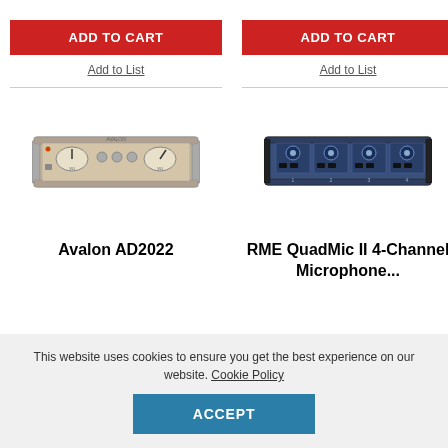ADD TO CART
Add to List
ADD TO CART
Add to List
[Figure (photo): Avalon AD2022 rackmount audio preamplifier, silver/gold chassis with VU meters]
[Figure (photo): RME QuadMic II 4-Channel Microphone Preamp, blue rackmount unit with multiple knobs]
Avalon AD2022
RME QuadMic II 4-Channel Microphone...
This website uses cookies to ensure you get the best experience on our website. Cookie Policy
ACCEPT